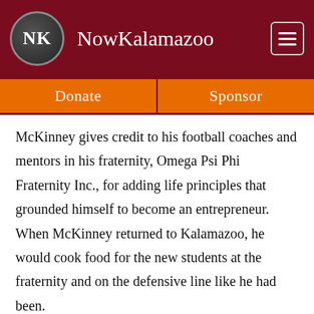NowKalamazoo
Donate   Sponsor
McKinney gives credit to his football coaches and mentors in his fraternity, Omega Psi Phi Fraternity Inc., for adding life principles that grounded himself to become an entrepreneur. When McKinney returned to Kalamazoo, he would cook food for the new students at the fraternity and on the defensive line like he had been.
“He talked to the players about day-to-day life as a